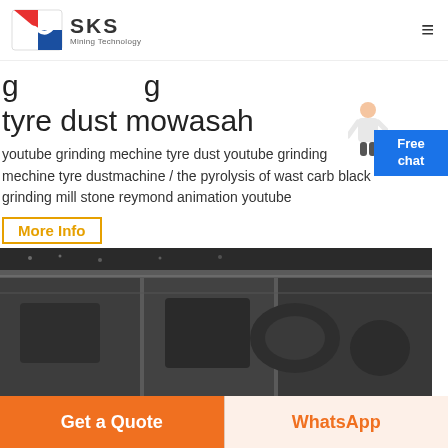SKS Mining Technology
grinding tyre dust mowasah
youtube grinding mechine tyre dust youtube grinding mechine tyre dustmachine / the pyrolysis of wast carb black grinding mill stone reymond animation youtube
More Info
[Figure (photo): Close-up photo of industrial grinding machine components, showing dark metal parts and machinery internals]
Get a Quote
WhatsApp